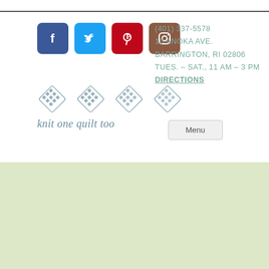[Figure (logo): Social media icons: Facebook (blue), Twitter (blue), Pinterest (red), Instagram (brown/sepia)]
(401) 337-5578
10 ANOKA AVE.
BARRINGTON, RI 02806
TUES. – SAT., 11 AM – 3 PM
DIRECTIONS
[Figure (logo): Knit one quilt too logo: four blue diamond/cross textile pattern icons with text 'knit one quilt too']
Menu
To register for a class or for questions, call the shop at (401) 337-5578. If you prefer private lessons, we can arrange that too.